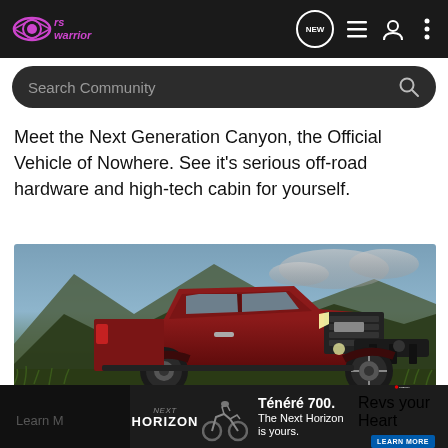rs Warrior — Search Community [nav icons]
Meet the Next Generation Canyon, the Official Vehicle of Nowhere. See it's serious off-road hardware and high-tech cabin for yourself.
[Figure (photo): Red GMC Canyon AT4X off-road pickup truck parked on grassy hillside with mountains and dramatic cloudy sky in background]
Preproduction model shown. Actual production model may vary. Canyon Initial availability early 2023. AT4X model available spring 2023. AT4X Edition 1 Package shown for extremely limited availability. The Safari Bar and Front Grille Light Bar may block the front view camera or limit the camera's field of view, which will inhibit the HD Surround Vision system. Always check around the vehicle before driving or parking.
[Figure (infographic): Yamaha Tenere 700 Next Horizon advertisement banner at bottom of page with motorcycle and Learn More button]